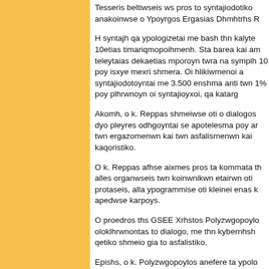Tesseris beltiwseis ws pros to syntajiodotiko anakoinwse o Ypoyrgos Ergasias Dhmhtrhs R
H syntajh qa ypologizetai me bash thn kalyte 10etias timariqmopoihmenh. Sta barea kai an teleytaias dekaetias mporoyn twra na symplh 10 poy isxye mexri shmera. Oi hlikiwmenoi a syntajiodotoyntai me 3.500 enshma anti twn 1% poy plhrwnoyn oi syntajioyxoi, qa katarg
Akomh, o k. Reppas shmeiwse oti o dialogos dyo pleyres odhgoyntai se apotelesma poy an twn ergazomenwn kai twn asfalismenwn kai kaqoristiko.
O k. Reppas afhse aixmes pros ta kommata th alles organwseis twn koinwnikwn etairwn oti protaseis, alla ypogrammise oti kleinei enas k apedwse karpoys.
O proedros ths GSEE Xrhstos Polyzwgopoylo oloklhrwnontas to dialogo, me thn kybernhsh qetiko shmeio gia to asfalistiko.
Epishs, o k. Polyzwgopoylos anefere ta ypolo paramenoyn pros syzbthsh kai einai ta eihs: